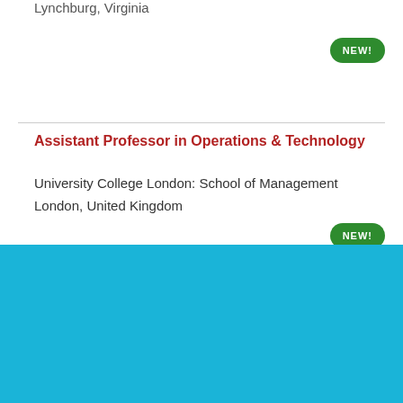Lynchburg, Virginia
NEW!
Assistant Professor in Operations & Technology
University College London: School of Management
London, United Kingdom
NEW!
Cookie Settings  Got it
We use cookies so that we can remember you and understand how you use our site. If you do not agree with our use of cookies, please change the current settings found in our Cookie Policy. Otherwise, you agree to the use of the cookies as they are currently set.